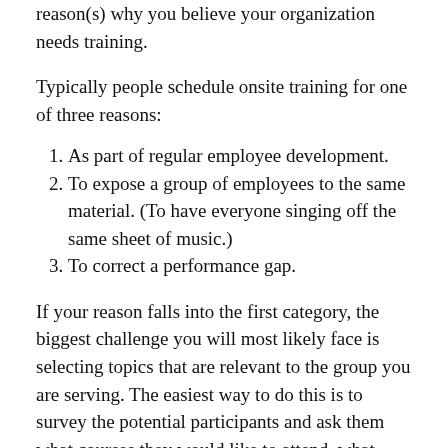reason(s) why you believe your organization needs training.
Typically people schedule onsite training for one of three reasons:
As part of regular employee development.
To expose a group of employees to the same material. (To have everyone singing off the same sheet of music.)
To correct a performance gap.
If your reason falls into the first category, the biggest challenge you will most likely face is selecting topics that are relevant to the group you are serving. The easiest way to do this is to survey the potential participants and ask them what courses they would like to attend, what they expect to learn, and how that will improve their performance back on the job. You should then pass